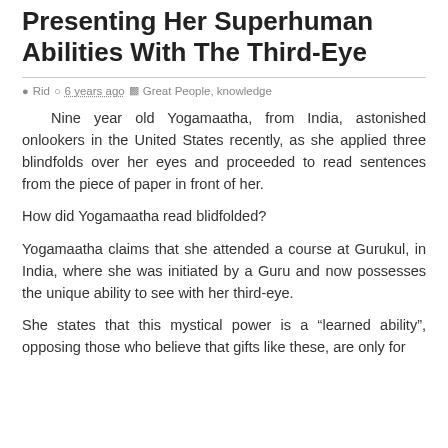Presenting Her Superhuman Abilities With The Third-Eye
Rid   6 years ago   Great People, knowledge
Nine year old Yogamaatha, from India, astonished onlookers in the United States recently, as she applied three blindfolds over her eyes and proceeded to read sentences from the piece of paper in front of her.
How did Yogamaatha read blidfolded?
Yogamaatha claims that she attended a course at Gurukul, in India, where she was initiated by a Guru and now possesses the unique ability to see with her third-eye.
She states that this mystical power is a “learned ability”, opposing those who believe that gifts like these, are only for the chosen few.